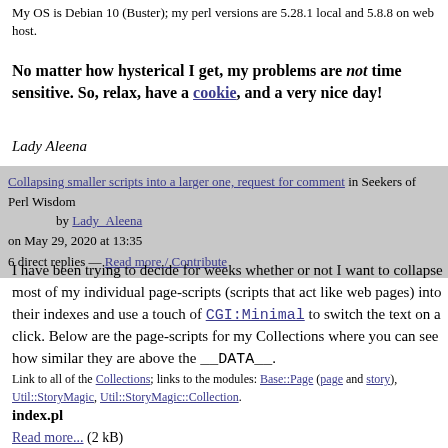My OS is Debian 10 (Buster); my perl versions are 5.28.1 local and 5.8.8 on web host.
No matter how hysterical I get, my problems are not time sensitive. So, relax, have a cookie, and a very nice day!
Lady Aleena
| Collapsing smaller scripts into a larger one, request for comment in Seekers of Perl Wisdom | by Lady_Aleena on May 29, 2020 at 13:35 |
| 6 direct replies — Read more / Contribute |  |
I have been trying to decide for weeks whether or not I want to collapse most of my individual page-scripts (scripts that act like web pages) into their indexes and use a touch of CGI:Minimal to switch the text on a click. Below are the page-scripts for my Collections where you can see how similar they are above the __DATA__.
Link to all of the Collections; links to the modules: Base::Page (page and story), Util::StoryMagic, Util::StoryMagic::Collection.
index.pl
Read more... (2 kB)
Fiction.pl
Read more... (946 Bytes)